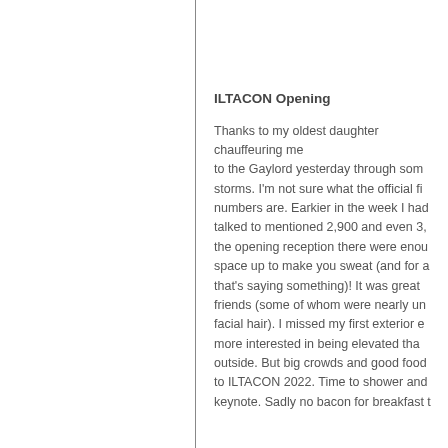ILTACON Opening
Thanks to my oldest daughter chauffeuring me to the Gaylord yesterday through some serious storms. I'm not sure what the official final numbers are. Earkier in the week I had talked to mentioned 2,900 and even 3, the opening reception there were enou space up to make you sweat (and for a that's saying something)! It was great friends (some of whom were nearly unr facial hair). I missed my first exterior e more interested in being elevated than outside. But big crowds and good food v to ILTACON 2022. Time to shower and keynote. Sadly no bacon for breakfast t